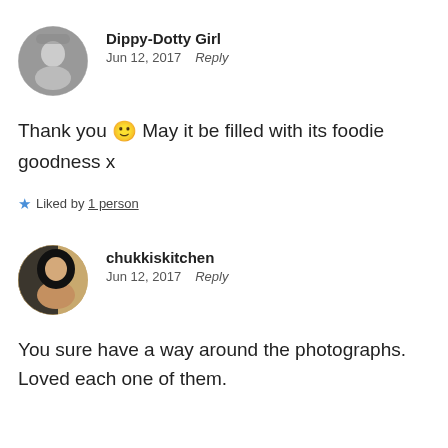[Figure (photo): Circular avatar photo of Dippy-Dotty Girl, black and white portrait of a young girl]
Dippy-Dotty Girl
Jun 12, 2017   Reply
Thank you 🙂 May it be filled with its foodie goodness x
★ Liked by 1 person
[Figure (photo): Circular avatar photo of chukkiskitchen, dark-haired woman smiling]
chukkiskitchen
Jun 12, 2017   Reply
You sure have a way around the photographs. Loved each one of them.